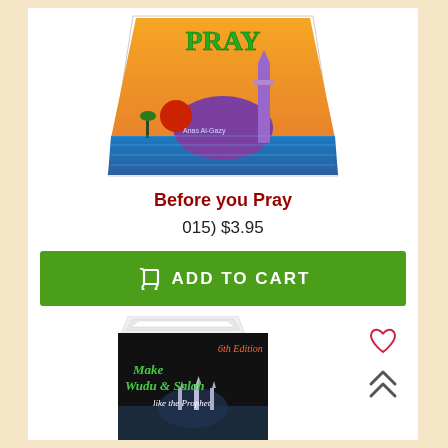[Figure (photo): Book cover of 'Before you Pray' showing a mosque silhouette against an orange sunset background with a purple dome and minaret, palm trees and a grid pattern at the bottom. Author name Anas Al-Gazy visible.]
Before you Pray
015) $3.95
[Figure (other): Green ADD TO CART button with shopping cart icon]
[Figure (photo): Book cover of 'Make Wudu & Salah like the Prophet' 6th Edition, showing a black cover with the Kaaba/Grand Mosque image at the bottom and white/green text.]